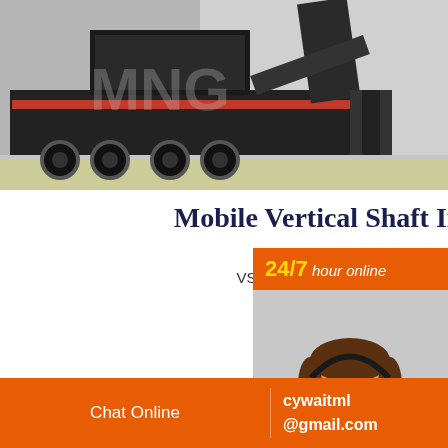[Figure (photo): Industrial mobile crushing machine/equipment on a factory floor, with watermark text overlay]
Mobile Vertical Shaft Impact Cr
VSI Series Vertical Shaft Impact Crush... choice for the artificial s...
[Figure (photo): 24/7 hour online customer service banner with woman wearing headset, orange background, Click to chat button, and Enquiry button]
pneumatic grin
Chat Online    cywaitml @gmail.com